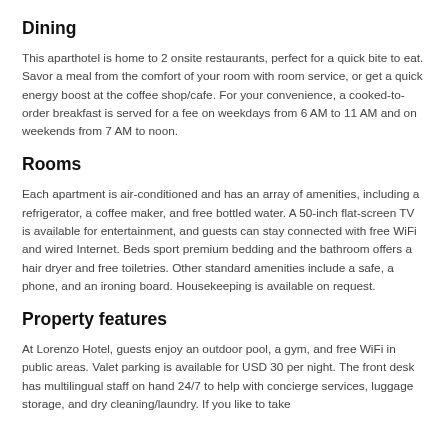Dining
This aparthotel is home to 2 onsite restaurants, perfect for a quick bite to eat. Savor a meal from the comfort of your room with room service, or get a quick energy boost at the coffee shop/cafe. For your convenience, a cooked-to-order breakfast is served for a fee on weekdays from 6 AM to 11 AM and on weekends from 7 AM to noon.
Rooms
Each apartment is air-conditioned and has an array of amenities, including a refrigerator, a coffee maker, and free bottled water. A 50-inch flat-screen TV is available for entertainment, and guests can stay connected with free WiFi and wired Internet. Beds sport premium bedding and the bathroom offers a hair dryer and free toiletries. Other standard amenities include a safe, a phone, and an ironing board. Housekeeping is available on request.
Property features
At Lorenzo Hotel, guests enjoy an outdoor pool, a gym, and free WiFi in public areas. Valet parking is available for USD 30 per night. The front desk has multilingual staff on hand 24/7 to help with concierge services, luggage storage, and dry cleaning/laundry. If you like to take